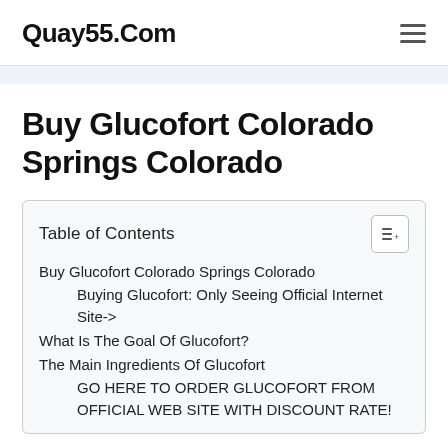Quay55.Com
Buy Glucofort Colorado Springs Colorado
| Table of Contents |
| --- |
| Buy Glucofort Colorado Springs Colorado |
| Buying Glucofort: Only Seeing Official Internet Site-> |
| What Is The Goal Of Glucofort? |
| The Main Ingredients Of Glucofort |
| GO HERE TO ORDER GLUCOFORT FROM OFFICIAL WEB SITE WITH DISCOUNT RATE! |